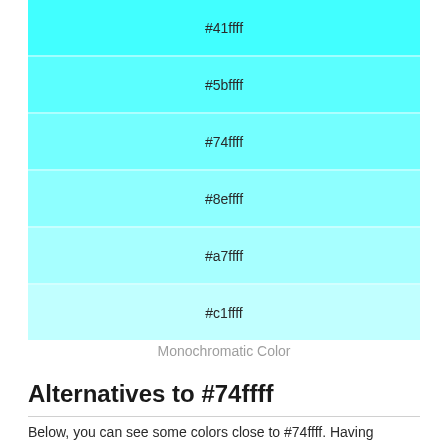[Figure (infographic): Monochromatic color swatches showing six shades of cyan: #41ffff, #5bffff, #74ffff, #8effff, #a7ffff, #c1ffff arranged vertically from darkest to lightest]
Monochromatic Color
Alternatives to #74ffff
Below, you can see some colors close to #74ffff. Having